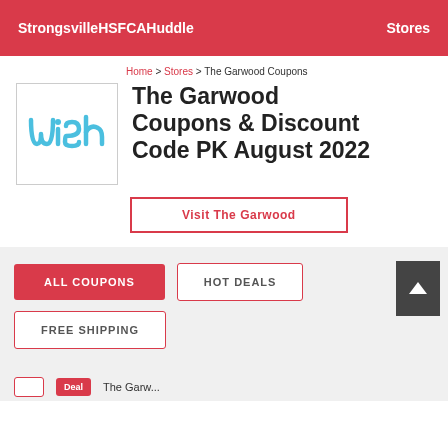StrongsvilleHSFCAHuddle    Stores
Home > Stores > The Garwood Coupons
The Garwood Coupons & Discount Code PK August 2022
Visit The Garwood
ALL COUPONS
HOT DEALS
FREE SHIPPING
The Garwood...